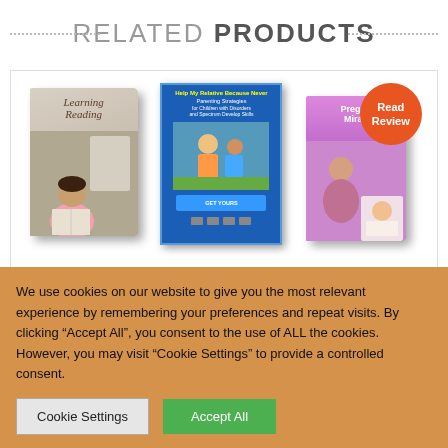RELATED PRODUCTS
[Figure (illustration): Three product book covers displayed side by side: (1) a physical book titled 'Learning Reading' showing a child reading, (2) a digital/ebook cover with blue background about autism parenting strategies, (3) a book titled 'Pregnancy Miracle' with a pink/purple cover, accompanied by a red 'Read Review' badge.]
We use cookies on our website to give you the most relevant experience by remembering your preferences and repeat visits. By clicking "Accept All", you consent to the use of ALL the cookies. However, you may visit "Cookie Settings" to provide a controlled consent.